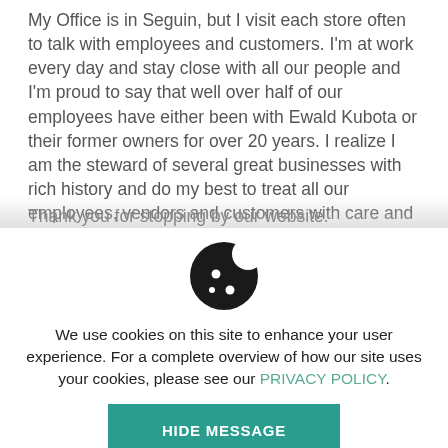My Office is in Seguin, but I visit each store often to talk with employees and customers. I'm at work every day and stay close with all our people and I'm proud to say that well over half of our employees have either been with Ewald Kubota or their former owners for over 20 years. I realize I am the steward of several great businesses with rich history and do my best to treat all our employees, vendors and customers with care and respect.
Thank you for stopping by our website.
[Figure (illustration): Cookie icon: a dark cookie with bite taken out and two dots, representing browser cookies]
We use cookies on this site to enhance your user experience. For a complete overview of how our site uses your cookies, please see our PRIVACY POLICY.
HIDE MESSAGE